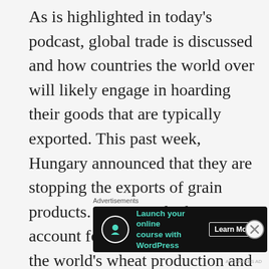As is highlighted in today's podcast, global trade is discussed and how countries the world over will likely engage in hoarding their goods that are typically exported. This past week, Hungary announced that they are stopping the exports of grain products. Russia and Ukraine account for nearly 25 percent of the world's wheat production and 20 percent of global corn production. Also this week, President Putin of Russia, reached out to [continues below]
Advertisements
[Figure (other): Dark advertisement banner for WordPress online course. Contains a tree/person icon, teal text reading 'Launch your online course with WordPress', and a 'Learn More' button.]